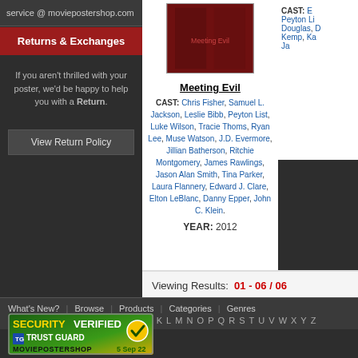service @ moviepostershop.com
Returns & Exchanges
If you aren't thrilled with your poster, we'd be happy to help you with a Return.
View Return Policy
[Figure (photo): Movie poster image for Meeting Evil with dark red tones]
Meeting Evil
CAST: Chris Fisher, Samuel L. Jackson, Leslie Bibb, Peyton List, Luke Wilson, Tracie Thoms, Ryan Lee, Muse Watson, J.D. Evermore, Jillian Batherson, Ritchie Montgomery, James Rawlings, Jason Alan Smith, Tina Parker, Laura Flannery, Edward J. Clare, Elton LeBlanc, Danny Epper, John C. Klein.
YEAR: 2012
Viewing Results: 01 - 06 / 06
What's New? | Browse | Products | Categories | Genres
Movies: 0-9 A B C D E F G H I J K L M N O P Q R S T U V W X Y Z
[Figure (logo): Security Verified Trust Guard badge for MOVIEPOSTERSHOP dated 5 Sep 22]